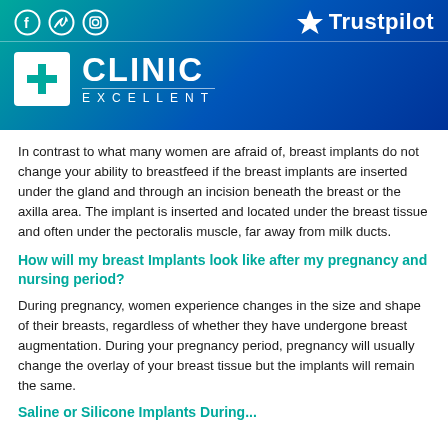[Figure (logo): Clinic Excellent logo with cross icon and Trustpilot branding on teal-to-blue gradient header, with social media icons (Facebook, Twitter, Instagram)]
In contrast to what many women are afraid of, breast implants do not change your ability to breastfeed if the breast implants are inserted under the gland and through an incision beneath the breast or the axilla area. The implant is inserted and located under the breast tissue and often under the pectoralis muscle, far away from milk ducts.
How will my breast Implants look like after my pregnancy and nursing period?
During pregnancy, women experience changes in the size and shape of their breasts, regardless of whether they have undergone breast augmentation. During your pregnancy period, pregnancy will usually change the overlay of your breast tissue but the implants will remain the same.
Saline or Silicone Implants During...